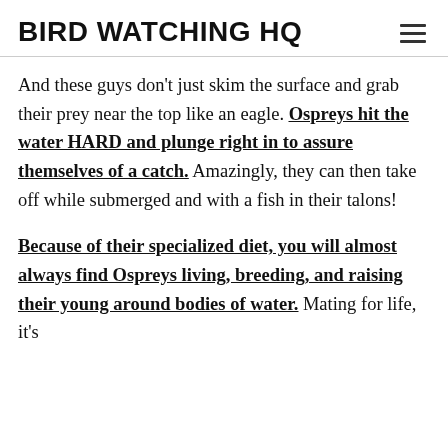BIRD WATCHING HQ
And these guys don't just skim the surface and grab their prey near the top like an eagle. Ospreys hit the water HARD and plunge right in to assure themselves of a catch. Amazingly, they can then take off while submerged and with a fish in their talons!
Because of their specialized diet, you will almost always find Ospreys living, breeding, and raising their young around bodies of water. Mating for life, it's